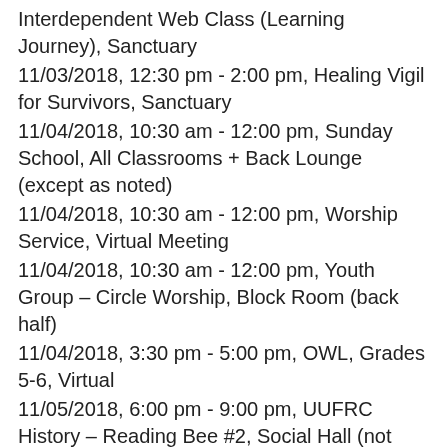Interdependent Web Class (Learning Journey), Sanctuary
11/03/2018, 12:30 pm - 2:00 pm, Healing Vigil for Survivors, Sanctuary
11/04/2018, 10:30 am - 12:00 pm, Sunday School, All Classrooms + Back Lounge (except as noted)
11/04/2018, 10:30 am - 12:00 pm, Worship Service, Virtual Meeting
11/04/2018, 10:30 am - 12:00 pm, Youth Group – Circle Worship, Block Room (back half)
11/04/2018, 3:30 pm - 5:00 pm, OWL, Grades 5-6, Virtual
11/05/2018, 6:00 pm - 9:00 pm, UUFRC History – Reading Bee #2, Social Hall (not Front Lounge)
11/06/2018, 6:00 pm - 9:00 pm, Men's Covenant Group, Virtual Meeting
11/07/2018, 7:00 pm - 8:30 pm, Connections Committee, Block Room
11/07/2018, 7:00 pm - 9:00 pm, Listening Circle for Elections, Sanctuary
11/07/2018, 7:00 pm - 9:00 pm, Rooms of Resistance, (A